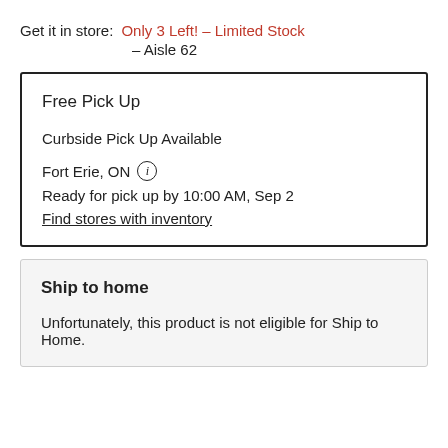Get it in store:   Only 3 Left! – Limited Stock – Aisle 62
Free Pick Up
Curbside Pick Up Available
Fort Erie, ON ℹ
Ready for pick up by 10:00 AM, Sep 2
Find stores with inventory
Ship to home
Unfortunately, this product is not eligible for Ship to Home.